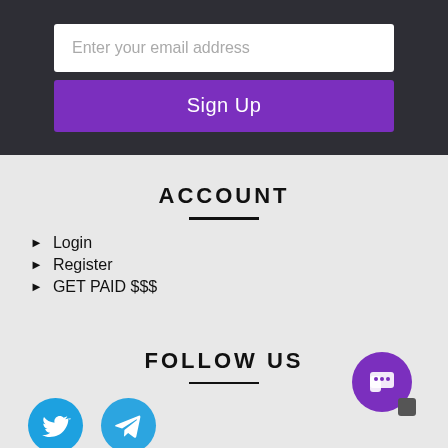[Figure (screenshot): Email signup form with text input field placeholder 'Enter your email address' and a purple 'Sign Up' button on a dark background]
ACCOUNT
Login
Register
GET PAID $$$
FOLLOW US
[Figure (illustration): Twitter and Telegram social media icon circles (cyan/blue) and a purple chat bubble button at bottom right]